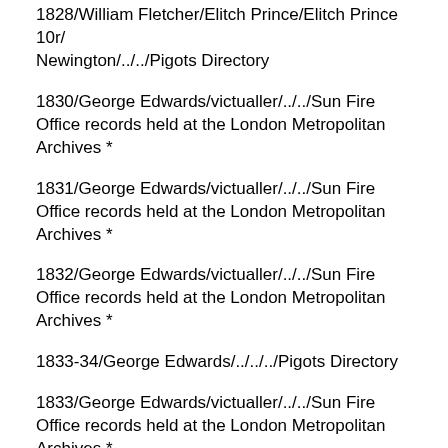1828/William Fletcher/Elitch Prince/Elitch Prince 10r/Newington/../../Pigots Directory
1830/George Edwards/victualler/../../Sun Fire Office records held at the London Metropolitan Archives *
1831/George Edwards/victualler/../../Sun Fire Office records held at the London Metropolitan Archives *
1832/George Edwards/victualler/../../Sun Fire Office records held at the London Metropolitan Archives *
1833-34/George Edwards/../../../Pigots Directory
1833/George Edwards/victualler/../../Sun Fire Office records held at the London Metropolitan Archives *
1834/Mr George Edwards/../../../Licensed Victuallers Association